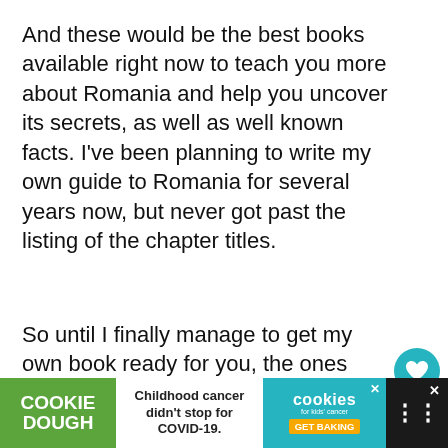And these would be the best books available right now to teach you more about Romania and help you uncover its secrets, as well as well known facts. I've been planning to write my own guide to Romania for several years now, but never got past the listing of the chapter titles.
So until I finally manage to get my own book ready for you, the ones above will definitely work great!
[Figure (other): Advertisement banner at bottom: Cookie Dough green logo on left, middle white section with text 'Childhood cancer didn't stop for COVID-19.', teal Cookies for Kids Cancer logo with GET BAKING button, and dark right section with X close button and menu icon.]